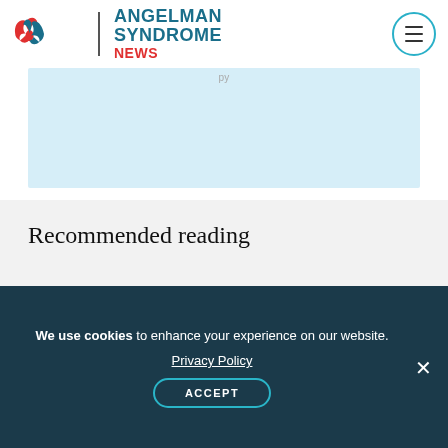Angelman Syndrome News
Recommended reading
[Figure (illustration): Colorful illustrated banner showing festive/graduation scene with teal waves, flowers, and graduation cap on dark figure, warm orange and yellow background elements]
We use cookies to enhance your experience on our website. Privacy Policy ACCEPT